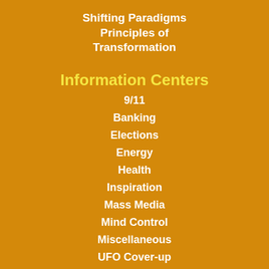Shifting Paradigms Principles of Transformation
Information Centers
9/11
Banking
Elections
Energy
Health
Inspiration
Mass Media
Mind Control
Miscellaneous
UFO Cover-up